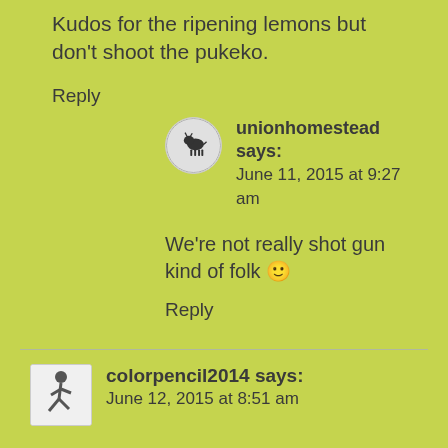Kudos for the ripening lemons but don't shoot the pukeko.
Reply
[Figure (illustration): Small circular avatar with goat silhouette logo for unionhomestead]
unionhomestead says:
June 11, 2015 at 9:27 am
We're not really shot gun kind of folk 🙂
Reply
[Figure (illustration): Small square avatar with running figure for colorpencil2014]
colorpencil2014 says:
June 12, 2015 at 8:51 am